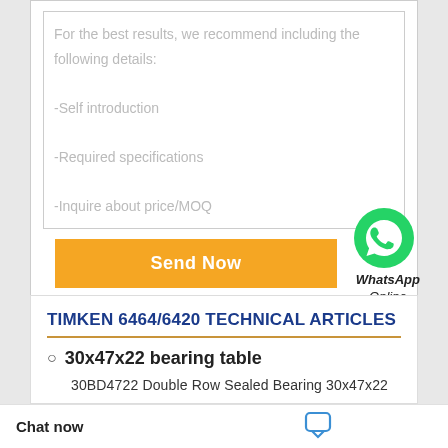For the best results, we recommend including the following details:
-Self introduction
-Required specifications
-Inquire about price/MOQ
Send Now
[Figure (logo): WhatsApp green phone icon circle logo]
WhatsApp Online
TIMKEN 6464/6420 TECHNICAL ARTICLES
30x47x22 bearing table
30BD4722 Double Row Sealed Bearing 30x47x22
30BD4722 Double Row Sealed Bearing 30x47x22
d Ball Bearing
ouble Row Sealed
Chat now